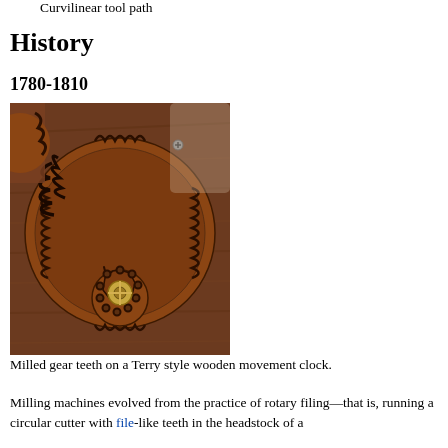Curvilinear tool path
History
1780-1810
[Figure (photo): Close-up photograph of milled wooden gear teeth on a Terry style wooden movement clock, showing a large gear wheel with curved teeth and a smaller pinion gear with a brass center hub.]
Milled gear teeth on a Terry style wooden movement clock.
Milling machines evolved from the practice of rotary filing—that is, running a circular cutter with file-like teeth in the headstock of a